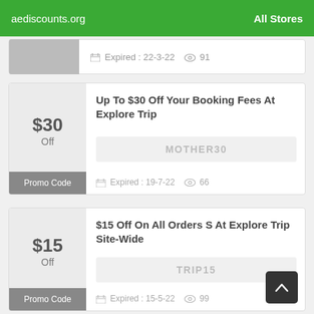aediscounts.org   All Stores
[Figure (screenshot): Partial coupon card showing expired date 22-3-22 and 91 views]
Up To $30 Off Your Booking Fees At Explore Trip
MOTHER30
Expired : 19-7-22   66
$15 Off On All Orders S At Explore Trip Site-Wide
TRIP15
Expired : 15-5-22   99